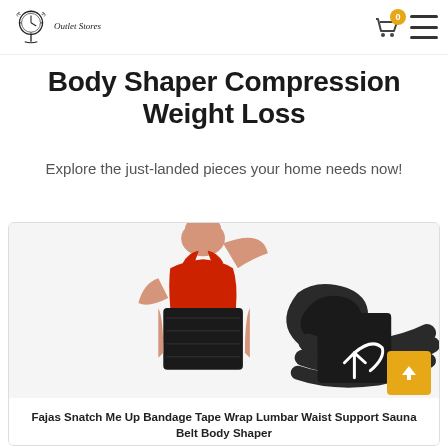Outlet Stores
Body Shaper Compression Weight Loss
Explore the just-landed pieces your home needs now!
[Figure (photo): Product card showing a woman wearing a red sports top and black waist trainer/body shaper, alongside rolled black bandage wrap tape, with a share icon overlay]
Fajas Snatch Me Up Bandage Tape Wrap Lumbar Waist Support Sauna Belt Body Shaper